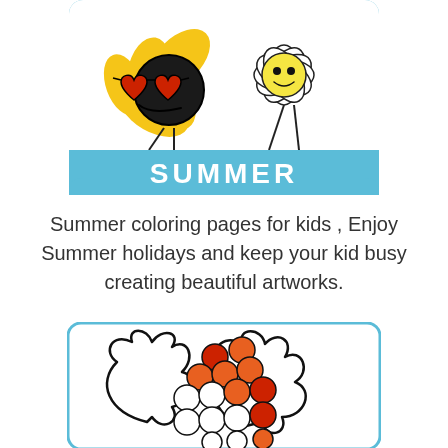[Figure (illustration): Summer coloring page card with a cartoon sunflower wearing heart-shaped sunglasses, blue rounded rectangle background with SUMMER label in white bold text on cyan banner]
Summer coloring pages for kids , Enjoy Summer holidays and keep your kid busy creating beautiful artworks.
[Figure (illustration): Autumn/fall coloring card showing a holly leaf with colorful dot circles (red, orange, white) on a white background with cyan border]